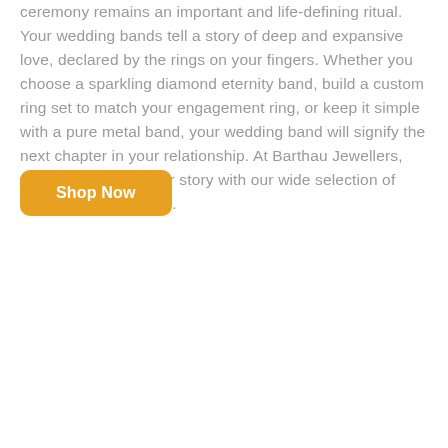ceremony remains an important and life-defining ritual. Your wedding bands tell a story of deep and expansive love, declared by the rings on your fingers. Whether you choose a sparkling diamond eternity band, build a custom ring set to match your engagement ring, or keep it simple with a pure metal band, your wedding band will signify the next chapter in your relationship. At Barthau Jewellers, we'll help you tell your story with our wide selection of ladies wedding bands.
Shop Now